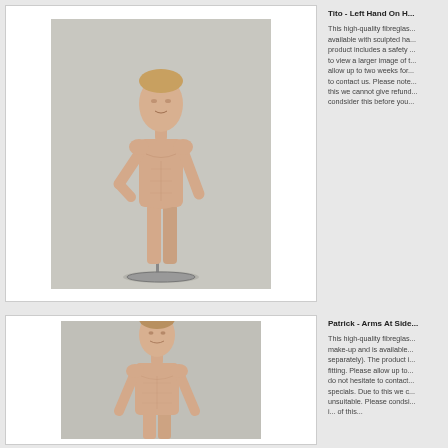[Figure (photo): Male mannequin standing with left hand on hip, nude fiberglass, on a round base]
Tito - Left Hand On H...
This high-quality fibreglas... available with sculpted ha... product includes a safety... to view a larger image of t... allow up to two weeks for... to contact us. Please note... this we cannot give refund... condsider this before you...
[Figure (photo): Male mannequin standing with arms at sides, nude fiberglass with make-up, partial view]
Patrick - Arms At Side...
This high-quality fibreglas... make-up and is available... separately). The product i... fitting. Please allow up to... do not hesitate to contact... specials. Due to this we c... unsuitable. Please condsi... i... of this...